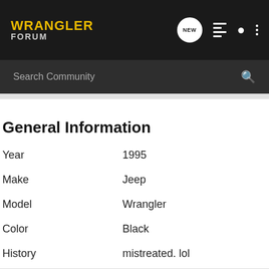WRANGLER FORUM
Search Community
General Information
| Field | Value |
| --- | --- |
| Year | 1995 |
| Make | Jeep |
| Model | Wrangler |
| Color | Black |
| History | mistreated. lol |